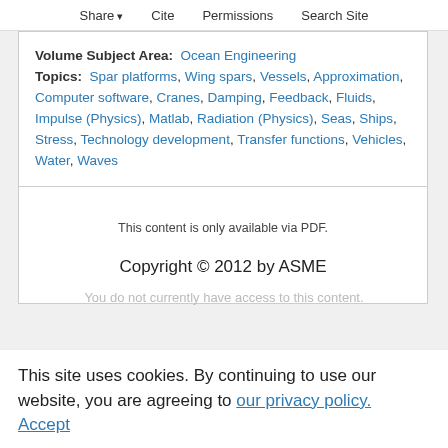Share   Cite   Permissions   Search Site
Volume Subject Area: Ocean Engineering Topics: Spar platforms, Wing spars, Vessels, Approximation, Computer software, Cranes, Damping, Feedback, Fluids, Impulse (Physics), Matlab, Radiation (Physics), Seas, Ships, Stress, Technology development, Transfer functions, Vehicles, Water, Waves
This content is only available via PDF.
Copyright © 2012 by ASME
You do not currently have access to this content.
This site uses cookies. By continuing to use our website, you are agreeing to our privacy policy. Accept